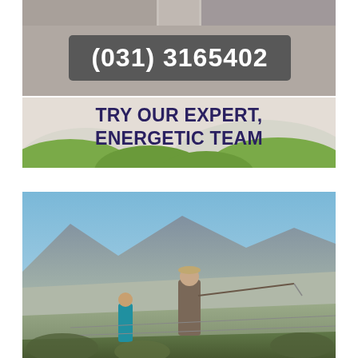[Figure (photo): Top collage strip with thumbnail photos of equipment/lodge]
(031) 3165402
[Figure (illustration): Banner with green hills silhouette and slogan TRY OUR EXPERT, ENERGETIC TEAM]
[Figure (photo): Outdoor photo of a man in a cap holding a rod/pole in a rocky mountain landscape with another person in background]